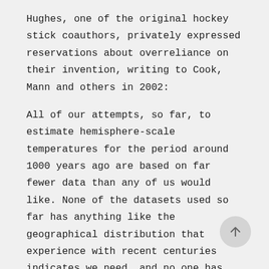Hughes, one of the original hockey stick coauthors, privately expressed reservations about overreliance on their invention, writing to Cook, Mann and others in 2002:
All of our attempts, so far, to estimate hemisphere-scale temperatures for the period around 1000 years ago are based on far fewer data than any of us would like. None of the datasets used so far has anything like the geographical distribution that experience with recent centuries indicates we need, and no one has yet found a convincing way of validating the lower-frequency components of them against independent data. As Ed [Cook] wrote...